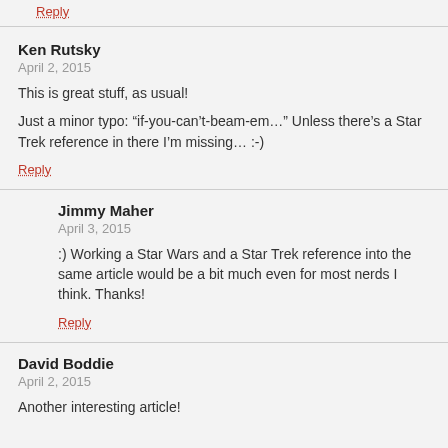Reply
Ken Rutsky
April 2, 2015
This is great stuff, as usual!
Just a minor typo: “if-you-can’t-beam-em…” Unless there’s a Star Trek reference in there I’m missing… :-)
Reply
Jimmy Maher
April 3, 2015
:) Working a Star Wars and a Star Trek reference into the same article would be a bit much even for most nerds I think. Thanks!
Reply
David Boddie
April 2, 2015
Another interesting article!